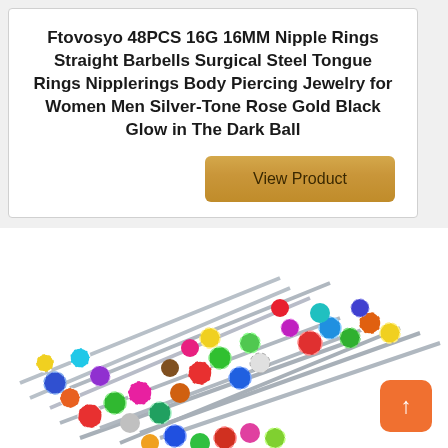Ftovosyo 48PCS 16G 16MM Nipple Rings Straight Barbells Surgical Steel Tongue Rings Nipplerings Body Piercing Jewelry for Women Men Silver-Tone Rose Gold Black Glow in The Dark Ball
[Figure (other): Button labeled 'View Product' with golden/tan background]
[Figure (photo): Pile of colorful barbell piercing jewelry with multicolored balls in green, blue, red, orange, pink, purple, yellow and striped patterns on silver bars]